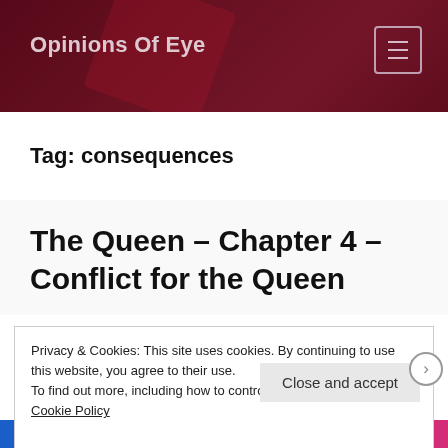Opinions Of Eye
Tag: consequences
The Queen – Chapter 4 – Conflict for the Queen
Privacy & Cookies: This site uses cookies. By continuing to use this website, you agree to their use.
To find out more, including how to control cookies, see here: Cookie Policy
Close and accept